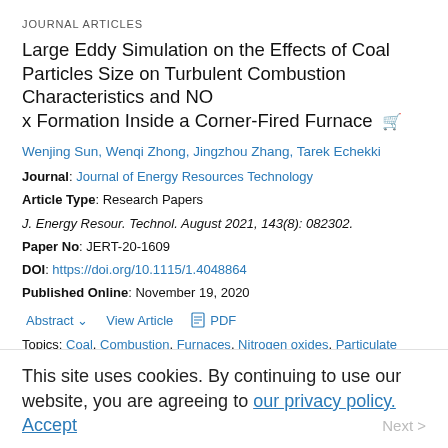JOURNAL ARTICLES
Large Eddy Simulation on the Effects of Coal Particles Size on Turbulent Combustion Characteristics and NOx Formation Inside a Corner-Fired Furnace
Wenjing Sun, Wenqi Zhong, Jingzhou Zhang, Tarek Echekki
Journal: Journal of Energy Resources Technology
Article Type: Research Papers
J. Energy Resour. Technol. August 2021, 143(8): 082302.
Paper No: JERT-20-1609
DOI: https://doi.org/10.1115/1.4048864
Published Online: November 19, 2020
Abstract  View Article  PDF
Topics: Coal, Combustion, Furnaces, Nitrogen oxides, Particulate matter, Turbulence, Corners (structural elements), Flames, Particle size, Large...
This site uses cookies. By continuing to use our website, you are agreeing to our privacy policy. Accept  Next >